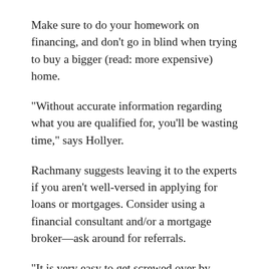Make sure to do your homework on financing, and don't go in blind when trying to buy a bigger (read: more expensive) home.
“Without accurate information regarding what you are qualified for, you’ll be wasting time,” says Hollyer.
Rachmany suggests leaving it to the experts if you aren’t well-versed in applying for loans or mortgages. Consider using a financial consultant and/or a mortgage broker—ask around for referrals.
“It is very easy to get screwed over by interest rates when applying for loans,” says Rachmany.
And while mortgage rates are at historic lows, experts say you should still compare financing